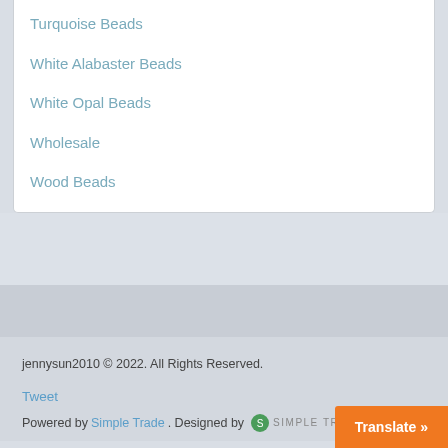Turquoise Beads
White Alabaster Beads
White Opal Beads
Wholesale
Wood Beads
jennysun2010 © 2022. All Rights Reserved.
Tweet
Powered by Simple Trade. Designed by Simple Trade